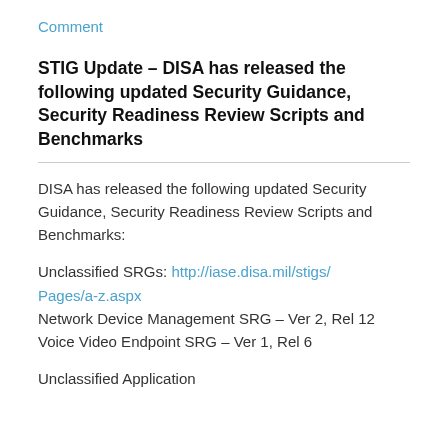Comment
STIG Update – DISA has released the following updated Security Guidance, Security Readiness Review Scripts and Benchmarks
DISA has released the following updated Security Guidance, Security Readiness Review Scripts and Benchmarks:
Unclassified SRGs: http://iase.disa.mil/stigs/Pages/a-z.aspx
Network Device Management SRG – Ver 2, Rel 12
Voice Video Endpoint SRG – Ver 1, Rel 6
Unclassified Application